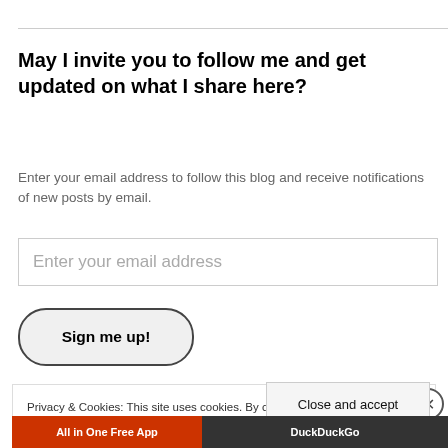May I invite you to follow me and get updated on what I share here?
Enter your email address to follow this blog and receive notifications of new posts by email.
Enter your email address
Sign me up!
Privacy & Cookies: This site uses cookies. By continuing to use this website, you agree to their use.
To find out more, including how to control cookies, see here: Cookie Policy
Close and accept